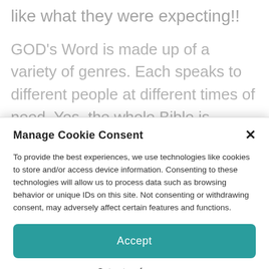like what they were expecting!!
GOD's Word is made up of a variety of genres. Each speaks to different people at different times of need. Yes, the whole Bible is inspired by GOD, but there are times when something
Manage Cookie Consent
To provide the best experiences, we use technologies like cookies to store and/or access device information. Consenting to these technologies will allow us to process data such as browsing behavior or unique IDs on this site. Not consenting or withdrawing consent, may adversely affect certain features and functions.
Accept
Opt-out preferences